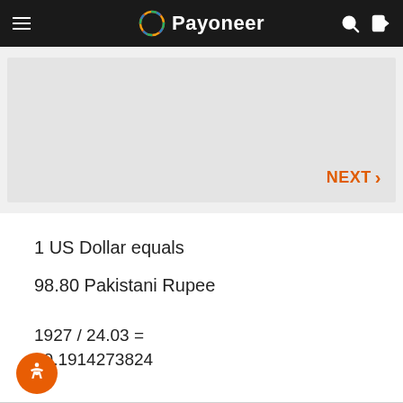Payoneer
[Figure (screenshot): Grey card area with NEXT > navigation button in orange]
1 US Dollar equals
98.80 Pakistani Rupee